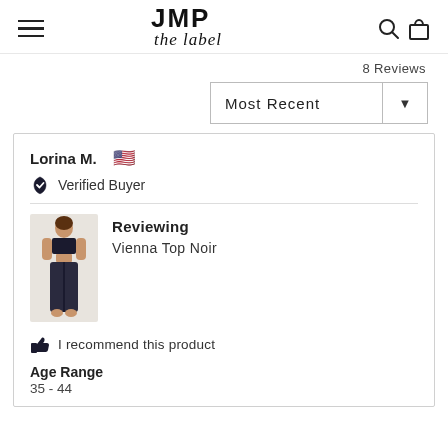JMP the label — navigation header with hamburger menu, logo, search and cart icons
8 Reviews
Most Recent
Lorina M. 🇺🇸
Verified Buyer
Reviewing
Vienna Top Noir
I recommend this product
Age Range
35 - 44